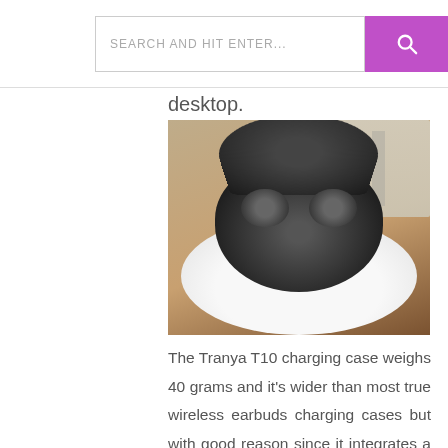SEARCH AND HIT ENTER...
desktop.
[Figure (photo): Photo of a Tranya T10 wireless earbuds charging case, black oval-shaped case sitting open on a white circular wireless charging pad, placed on a wooden desk with a keyboard visible in the background.]
The Tranya T10 charging case weighs 40 grams and it's wider than most true wireless earbuds charging cases but with good reason since it integrates a Qi wireless charging coil, enabling the Tranya T10 charging